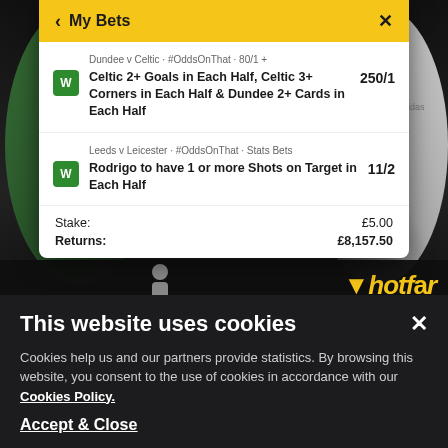[Figure (screenshot): Sports betting app screenshot showing My Bets panel overlaid on a dark background with football players. Two winning bets shown: Dundee v Celtic bet at 250/1 and Leeds v Leicester bet at 11/2. Stake £5.00 and Returns £8,157.50. Hotfoot logo visible at bottom of sports image.]
My Bets
Dundee v Celtic · #OddsOnThat · 80/1 +
Celtic 2+ Goals in Each Half, Celtic 3+ Corners in Each Half & Dundee 2+ Cards in Each Half
250/1
Leeds v Leicester · #OddsOnThat · Stats Bets
Rodrigo to have 1 or more Shots on Target in Each Half
11/2
Stake:
£5.00
Returns:
£8,157.50
This website uses cookies
Cookies help us and our partners provide statistics. By browsing this website, you consent to the use of cookies in accordance with our Cookies Policy.
Accept & Close